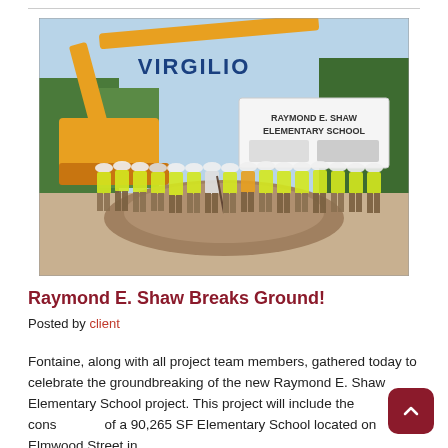[Figure (photo): Group photo of construction team members wearing yellow safety vests and hard hats at the Raymond E. Shaw Elementary School groundbreaking ceremony. A Virgilio excavator is visible in the background, along with a construction site sign reading 'Raymond E. Shaw Elementary School'. A mound of dirt is visible in the foreground.]
Raymond E. Shaw Breaks Ground!
Posted by client
Fontaine, along with all project team members, gathered today to celebrate the groundbreaking of the new Raymond E. Shaw Elementary School project. This project will include the construction of a 90,265 SF Elementary School located on Elmwood Street in